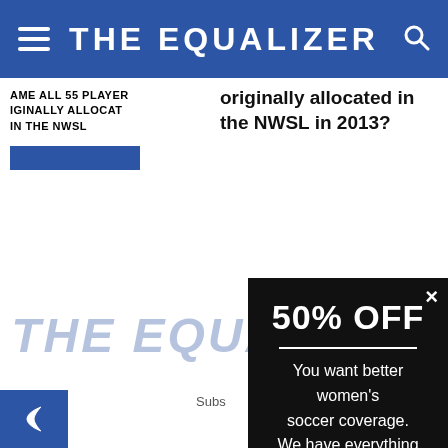THE EQUALIZER
originally allocated in the NWSL in 2013?
AME ALL 55 PLAYER IGINALLY ALLOCAT IN THE NWSL
[Figure (screenshot): THE EQUALIZER logo in blue italic text, faint background watermark]
Subs
[Figure (infographic): Black modal popup with 50% OFF header, white divider line, body text about women's soccer coverage, and GET HALF OFF button]
50% OFF
You want better women's soccer coverage. We have everything you need.
GET HALF OFF